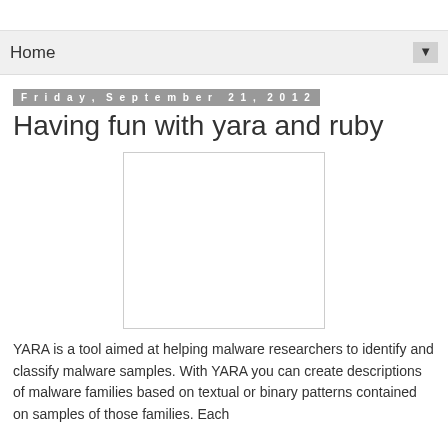Home
Friday, September 21, 2012
Having fun with yara and ruby
[Figure (photo): A white rectangular image placeholder with a light gray border]
YARA is a tool aimed at helping malware researchers to identify and classify malware samples. With YARA you can create descriptions of malware families based on textual or binary patterns contained on samples of those families. Each